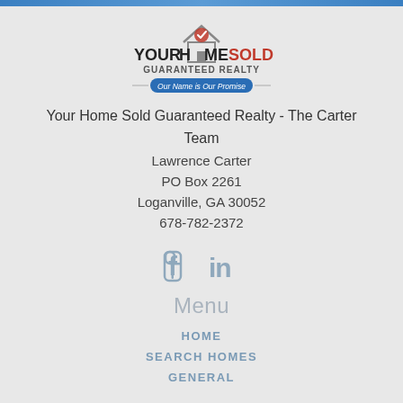[Figure (logo): Your Home Sold Guaranteed Realty logo with house icon and tagline 'Our Name is Our Promise']
Your Home Sold Guaranteed Realty - The Carter Team
Lawrence Carter
PO Box 2261
Loganville, GA 30052
678-782-2372
[Figure (illustration): Facebook and LinkedIn social media icons in gray-blue color]
Menu
HOME
SEARCH HOMES
GENERAL